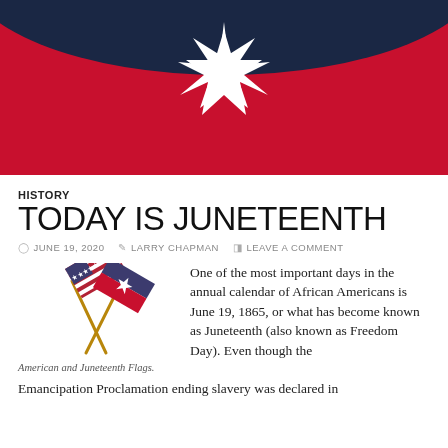[Figure (illustration): Juneteenth flag banner with dark navy arc at top, red background, and large white star in center with multiple pointed rays]
HISTORY
TODAY IS JUNETEENTH
JUNE 19, 2020  LARRY CHAPMAN  LEAVE A COMMENT
[Figure (illustration): Two crossed flags: American flag on left and Juneteenth flag (blue/red with white star) on right, crossed on gold poles]
American and Juneteenth Flags.
One of the most important days in the annual calendar of African Americans is June 19, 1865, or what has become known as Juneteenth (also known as Freedom Day). Even though the Emancipation Proclamation ending slavery was declared in